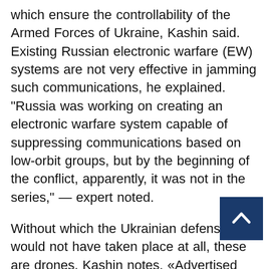which ensure the controllability of the Armed Forces of Ukraine, Kashin said. Existing Russian electronic warfare (EW) systems are not very effective in jamming such communications, he explained. "Russia was working on creating an electronic warfare system capable of suppressing communications based on low-orbit groups, but by the beginning of the conflict, apparently, it was not in the series," — expert noted.
Without which the Ukrainian defense would not have taken place at all, these are drones, Kashin notes. «Advertised «Bayraktars»— this is just the tip of the iceberg, more imp[ortant is] the constant flow of tactical reconnaiss[ance] drones — the expert explained. Since the war